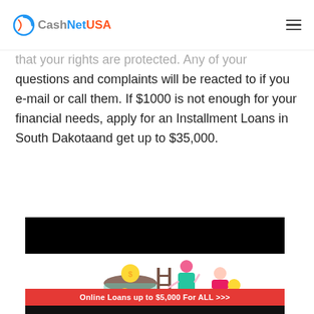CashNetUSA
that your rights are protected. Any of your questions and complaints will be reacted to if you e-mail or call them. If $1000 is not enough for your financial needs, apply for an Installment Loans in South Dakotaand get up to $35,000.
[Figure (other): Black redacted/censored bar covering text or image]
[Figure (illustration): Illustration of two people collecting coins and money into a large jar, with stacks of coins and cash bills around them]
[Figure (infographic): Red advertisement banner reading 'Online Loans up to $5,000 For ALL >>>']